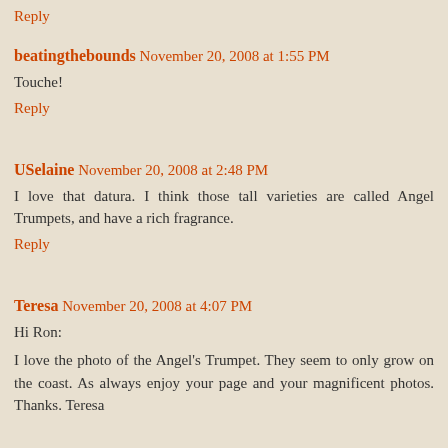Reply
beatingthebounds November 20, 2008 at 1:55 PM
Touche!
Reply
USelaine November 20, 2008 at 2:48 PM
I love that datura. I think those tall varieties are called Angel Trumpets, and have a rich fragrance.
Reply
Teresa November 20, 2008 at 4:07 PM
Hi Ron:
I love the photo of the Angel's Trumpet. They seem to only grow on the coast. As always enjoy your page and your magnificent photos. Thanks. Teresa